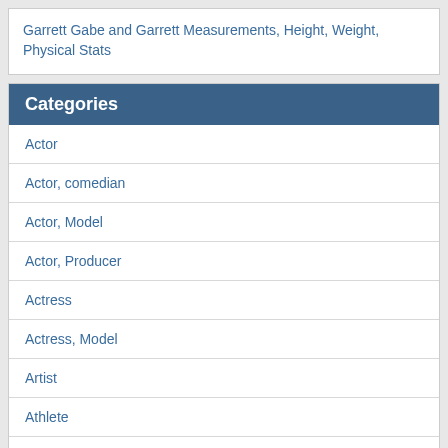Garrett Gabe and Garrett Measurements, Height, Weight, Physical Stats
Categories
Actor
Actor, comedian
Actor, Model
Actor, Producer
Actress
Actress, Model
Artist
Athlete
Author
basketball player
Blogger